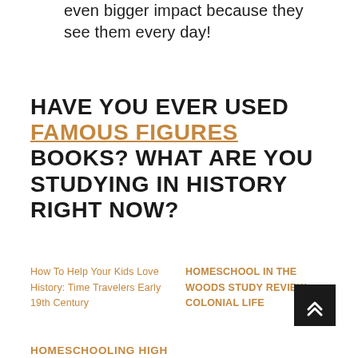You can display them which makes for an even bigger impact because they see them every day!
HAVE YOU EVER USED FAMOUS FIGURES BOOKS? WHAT ARE YOU STUDYING IN HISTORY RIGHT NOW?
How To Help Your Kids Love History: Time Travelers Early 19th Century
HOMESCHOOL IN THE WOODS STUDY REVIEW: COLONIAL LIFE
HOMESCHOOLING HIGH